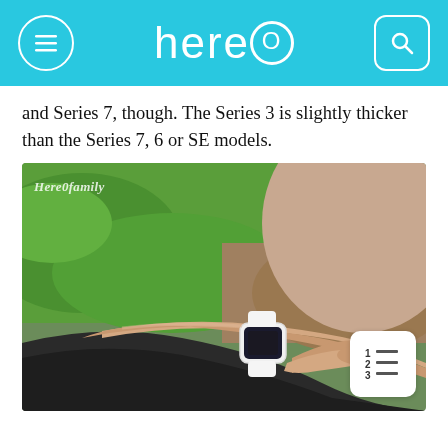hereO
and Series 7, though. The Series 3 is slightly thicker than the Series 7, 6 or SE models.
[Figure (photo): Person checking an Apple Watch on their wrist outdoors, with grass and earth in the background. Watermark reads 'Here0family'. A table-of-contents icon overlay is in the bottom right corner of the image.]